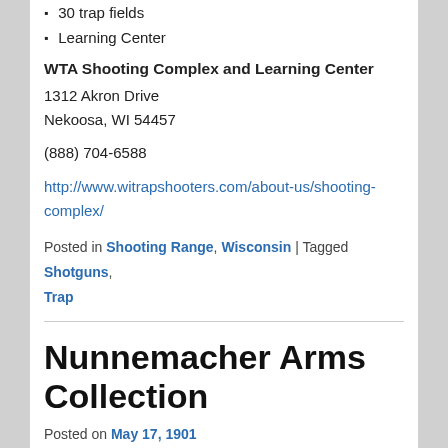30 trap fields
Learning Center
WTA Shooting Complex and Learning Center
1312 Akron Drive
Nekoosa, WI 54457
(888) 704-6588
http://www.witrapshooters.com/about-us/shooting-complex/
Posted in Shooting Range, Wisconsin | Tagged Shotguns, Trap
Nunnemacher Arms Collection
Posted on May 17, 1901